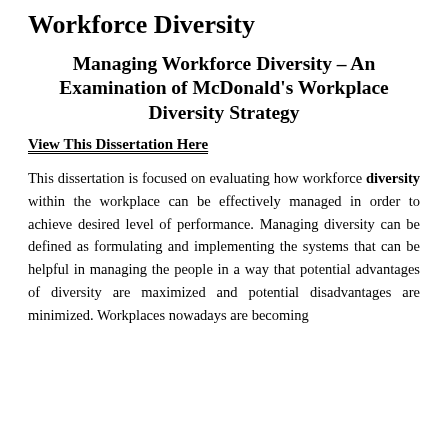Workforce Diversity
Managing Workforce Diversity – An Examination of McDonald's Workplace Diversity Strategy
View This Dissertation Here
This dissertation is focused on evaluating how workforce diversity within the workplace can be effectively managed in order to achieve desired level of performance. Managing diversity can be defined as formulating and implementing the systems that can be helpful in managing the people in a way that potential advantages of diversity are maximized and potential disadvantages are minimized. Workplaces nowadays are becoming